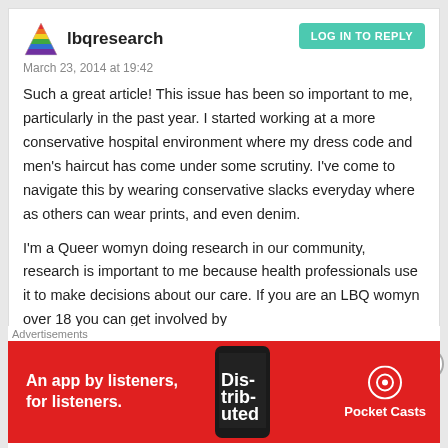lbqresearch
March 23, 2014 at 19:42
Such a great article! This issue has been so important to me, particularly in the past year. I started working at a more conservative hospital environment where my dress code and men's haircut has come under some scrutiny. I've come to navigate this by wearing conservative slacks everyday where as others can wear prints, and even denim.

I'm a Queer womyn doing research in our community, research is important to me because health professionals use it to make decisions about our care. If you are an LBQ womyn over 18 you can get involved by
Advertisements
[Figure (photo): Red advertisement banner for Pocket Casts app showing phone with 'Distributed' text and Pocket Casts logo with text 'An app by listeners, for listeners.']